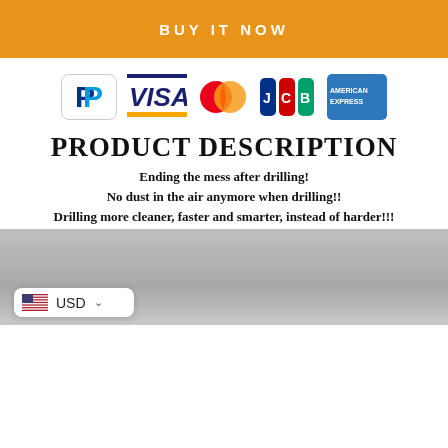BUY IT NOW
[Figure (logo): Payment method logos: PayPal, Visa, Mastercard, JCB, American Express]
PRODUCT DESCRIPTION
Ending the mess after drilling!
No dust in the air anymore when drilling!!
Drilling more cleaner, faster and smarter, instead of harder!!!
[Figure (photo): Gray background product photo (partially visible)]
USD